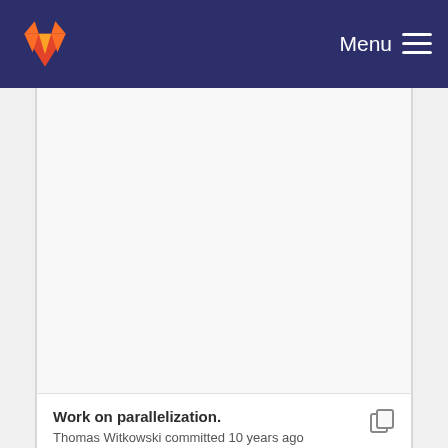GitLab — Menu
Work on parallelization.
Thomas Witkowski committed 10 years ago